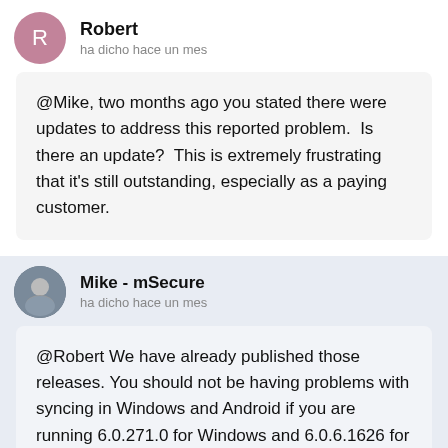Robert
ha dicho hace un mes
@Mike, two months ago you stated there were updates to address this reported problem.  Is there an update?  This is extremely frustrating that it's still outstanding, especially as a paying customer.
Mike - mSecure
ha dicho hace un mes
@Robert We have already published those releases. You should not be having problems with syncing in Windows and Android if you are running 6.0.271.0 for Windows and 6.0.6.1626 for